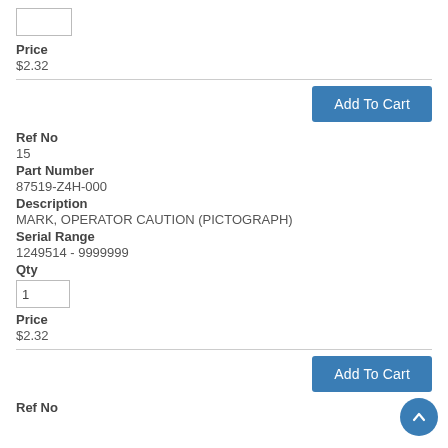Price
$2.32
Add To Cart
Ref No
15
Part Number
87519-Z4H-000
Description
MARK, OPERATOR CAUTION (PICTOGRAPH)
Serial Range
1249514 - 9999999
Qty
Price
$2.32
Add To Cart
Ref No